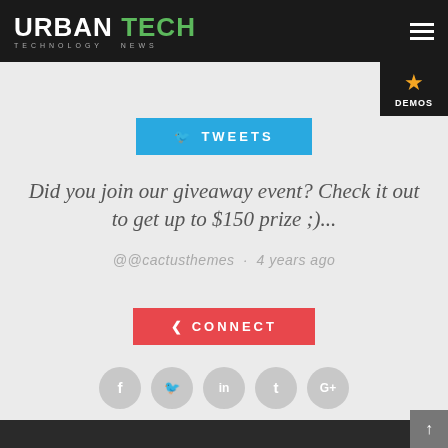URBAN TECH - TECHNOLOGY NEWS
TWEETS
Did you join our giveaway event? Check it out to get up to $150 prize ;)...
@@cactusthemes · 4 years ago
CONNECT
[Figure (infographic): Social media icon circles: Facebook, Twitter, LinkedIn, Tumblr, Google+]
Back to top arrow